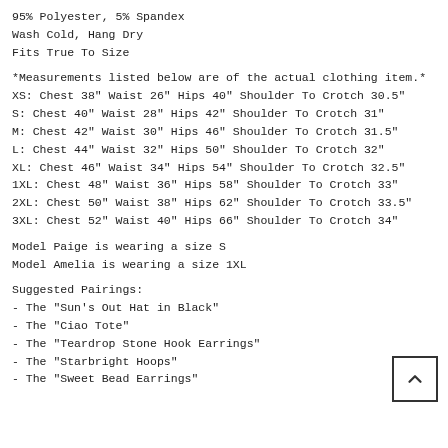95% Polyester, 5% Spandex
Wash Cold, Hang Dry
Fits True To Size
*Measurements listed below are of the actual clothing item.*
XS: Chest 38" Waist 26" Hips 40" Shoulder To Crotch 30.5"
S: Chest 40" Waist 28" Hips 42" Shoulder To Crotch 31"
M: Chest 42" Waist 30" Hips 46" Shoulder To Crotch 31.5"
L: Chest 44" Waist 32" Hips 50" Shoulder To Crotch 32"
XL: Chest 46" Waist 34" Hips 54" Shoulder To Crotch 32.5"
1XL: Chest 48" Waist 36" Hips 58" Shoulder To Crotch 33"
2XL: Chest 50" Waist 38" Hips 62" Shoulder To Crotch 33.5"
3XL: Chest 52" Waist 40" Hips 66" Shoulder To Crotch 34"
Model Paige is wearing a size S
Model Amelia is wearing a size 1XL
Suggested Pairings:
- The "Sun's Out Hat in Black"
- The "Ciao Tote"
- The "Teardrop Stone Hook Earrings"
- The "Starbright Hoops"
- The "Sweet Bead Earrings"